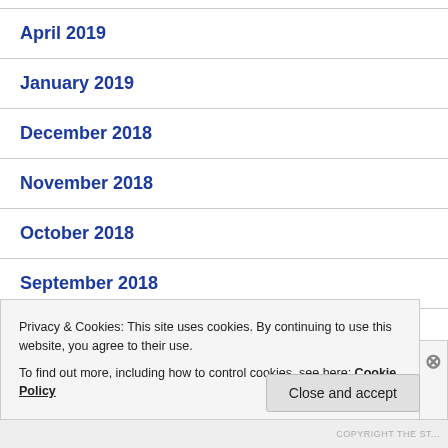April 2019
January 2019
December 2018
November 2018
October 2018
September 2018
August 2018
Privacy & Cookies: This site uses cookies. By continuing to use this website, you agree to their use.
To find out more, including how to control cookies, see here: Cookie Policy